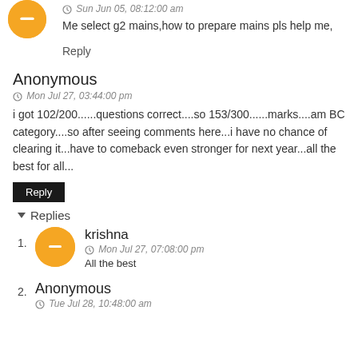Sun Jun 05, 08:12:00 am
Me select g2 mains,how to prepare mains pls help me,
Reply
Anonymous
Mon Jul 27, 03:44:00 pm
i got 102/200......questions correct....so 153/300......marks....am BC category....so after seeing comments here...i have no chance of clearing it...have to comeback even stronger for next year...all the best for all...
Reply
Replies
krishna
Mon Jul 27, 07:08:00 pm
All the best
Anonymous
Tue Jul 28, 10:48:00 am